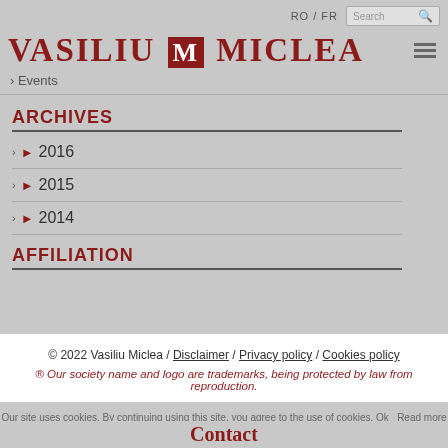RO / FR  [Search]
VASILIU M MICLEA
› Events
ARCHIVES
► 2016
► 2015
► 2014
AFFILIATION
© 2022 Vasiliu Miclea / Disclaimer / Privacy policy / Cookies policy
® Our society name and logo are trademarks, being protected by law from reproduction.
Our site uses cookies. By continuing using this site, you agree to the use of cookies. Ok  Read more
Contact